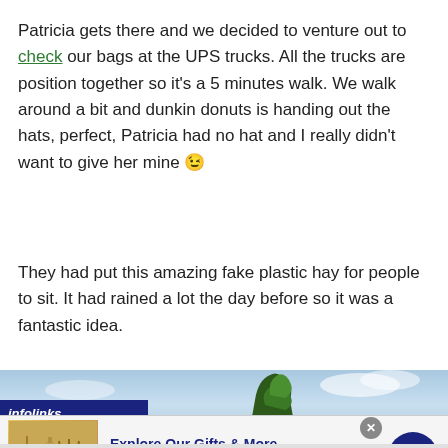Patricia gets there and we decided to venture out to check our bags at the UPS trucks. All the trucks are position together so it's a 5 minutes walk. We walk around a bit and dunkin donuts is handing out the hats, perfect, Patricia had no hat and I really didn't want to give her mine 😉
They had put this amazing fake plastic hay for people to sit. It had rained a lot the day before so it was a fantastic idea.
[Figure (photo): Partial view of outdoor scene with blue sky and trees, partially obscured by advertisement overlay]
[Figure (infographic): Advertisement banner: Infolinks bar with 1800flowers.com ad showing gifts and spa products. Title: Explore Our Gifts & More. Subtitle: Personalized Gifts - Spa Baskets - Get Sets. URL: www.1800flowers.com]